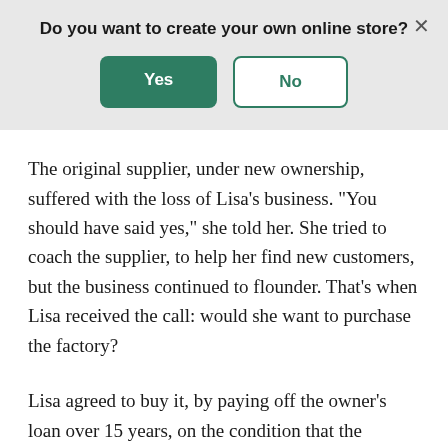Do you want to create your own online store?
The original supplier, under new ownership, suffered with the loss of Lisa’s business. “You should have said yes,” she told her. She tried to coach the supplier, to help her find new customers, but the business continued to flounder. That’s when Lisa received the call: would she want to purchase the factory?
Lisa agreed to buy it, by paying off the owner’s loan over 15 years, on the condition that the